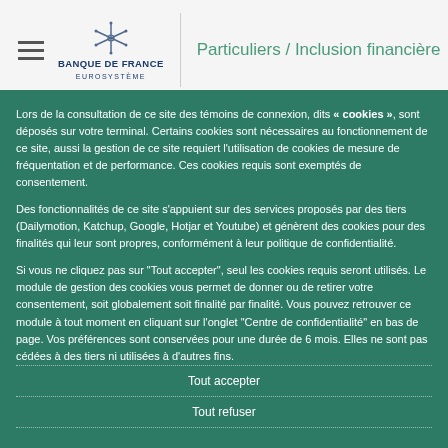Banque de France Eurosystème | Particuliers / Inclusion financière
Lors de la consultation de ce site des témoins de connexion, dits « cookies », sont déposés sur votre terminal. Certains cookies sont nécessaires au fonctionnement de ce site, aussi la gestion de ce site requiert l'utilisation de cookies de mesure de fréquentation et de performance. Ces cookies requis sont exemptés de consentement.
Des fonctionnalités de ce site s'appuient sur des services proposés par des tiers (Dailymotion, Katchup, Google, Hotjar et Youtube) et génèrent des cookies pour des finalités qui leur sont propres, conformément à leur politique de confidentialité.
Si vous ne cliquez pas sur "Tout accepter", seul les cookies requis seront utilisés. Le module de gestion des cookies vous permet de donner ou de retirer votre consentement, soit globalement soit finalité par finalité. Vous pouvez retrouver ce module à tout moment en cliquant sur l'onglet "Centre de confidentialité" en bas de page. Vos préférences sont conservées pour une durée de 6 mois. Elles ne sont pas cédées à des tiers ni utilisées à d'autres fins.
Tout accepter
Tout refuser
Personnaliser